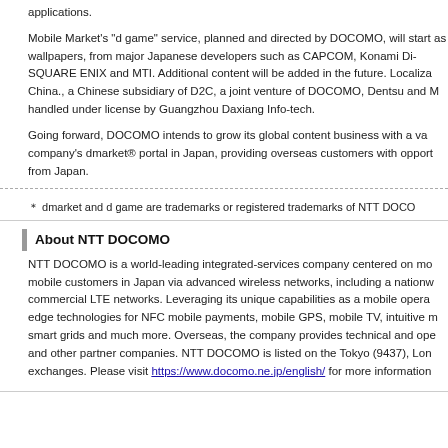localized games and various content selected for the Chinese market including applications.
Mobile Market's "d game" service, planned and directed by DOCOMO, will start as wallpapers, from major Japanese developers such as CAPCOM, Konami Dig SQUARE ENIX and MTI. Additional content will be added in the future. Localiza China., a Chinese subsidiary of D2C, a joint venture of DOCOMO, Dentsu and M handled under license by Guangzhou Daxiang Info-tech.
Going forward, DOCOMO intends to grow its global content business with a var company's dmarket® portal in Japan, providing overseas customers with oppor from Japan.
* dmarket and d game are trademarks or registered trademarks of NTT DOCO
About NTT DOCOMO
NTT DOCOMO is a world-leading integrated-services company centered on mo mobile customers in Japan via advanced wireless networks, including a nationw commercial LTE networks. Leveraging its unique capabilities as a mobile opera edge technologies for NFC mobile payments, mobile GPS, mobile TV, intuitive m smart grids and much more. Overseas, the company provides technical and ope and other partner companies. NTT DOCOMO is listed on the Tokyo (9437), Lon exchanges. Please visit https://www.docomo.ne.jp/english/ for more information